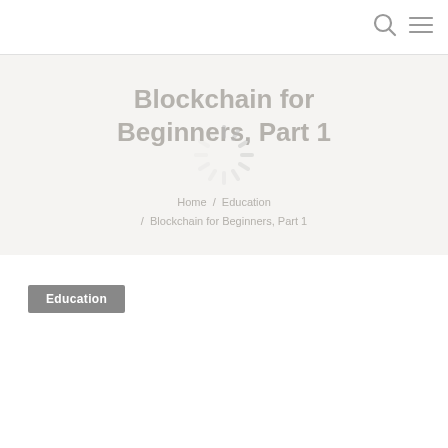Blockchain for Beginners, Part 1
Home / Education / Blockchain for Beginners, Part 1
[Figure (illustration): Loading spinner / activity indicator overlay on the hero banner area]
Education